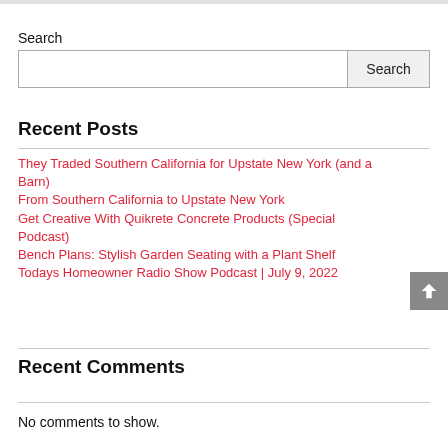Search
Search input and button
Recent Posts
They Traded Southern California for Upstate New York (and a Barn)
From Southern California to Upstate New York
Get Creative With Quikrete Concrete Products (Special Podcast)
Bench Plans: Stylish Garden Seating with a Plant Shelf
Todays Homeowner Radio Show Podcast | July 9, 2022
Recent Comments
No comments to show.